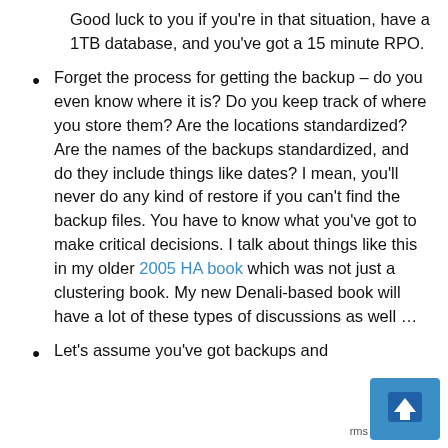Good luck to you if you're in that situation, have a 1TB database, and you've got a 15 minute RPO.
Forget the process for getting the backup – do you even know where it is? Do you keep track of where you store them? Are the locations standardized? Are the names of the backups standardized, and do they include things like dates? I mean, you'll never do any kind of restore if you can't find the backup files. You have to know what you've got to make critical decisions. I talk about things like this in my older 2005 HA book which was not just a clustering book. My new Denali-based book will have a lot of these types of discussions as well …
Let's assume you've got backups and